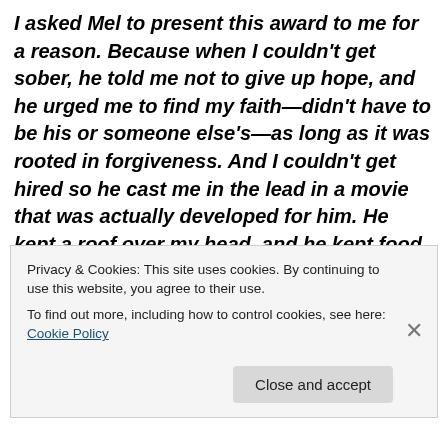I asked Mel to present this award to me for a reason. Because when I couldn't get sober, he told me not to give up hope, and he urged me to find my faith—didn't have to be his or someone else's—as long as it was rooted in forgiveness. And I couldn't get hired so he cast me in the lead in a movie that was actually developed for him. He kept a roof over my head, and he kept food on the table. And most importantly, he said that if I accepted responsibility for my wrongdoings and embraced that part of my soul that
Privacy & Cookies: This site uses cookies. By continuing to use this website, you agree to their use.
To find out more, including how to control cookies, see here: Cookie Policy
Close and accept